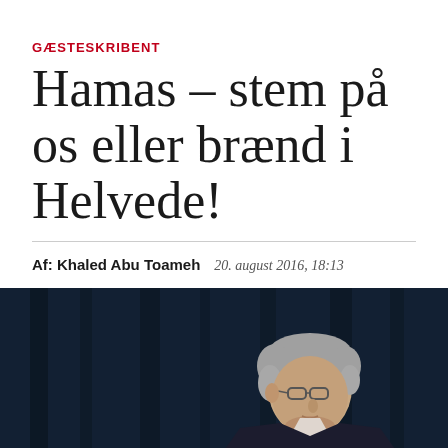GÆSTESKRIBENT
Hamas – stem på os eller brænd i Helvede!
Af: Khaled Abu Toameh   20. august 2016, 18:13
[Figure (photo): A grey-haired man wearing glasses, photographed against a dark navy/blue curtain background, visible from shoulders up in profile/three-quarter view.]